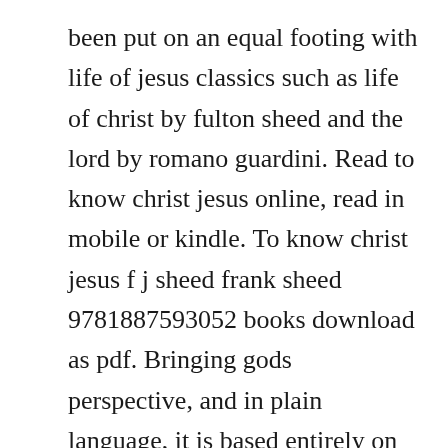been put on an equal footing with life of jesus classics such as life of christ by fulton sheed and the lord by romano guardini. Read to know christ jesus online, read in mobile or kindle. To know christ jesus f j sheed frank sheed 9781887593052 books download as pdf. Bringing gods perspective, and in plain language, it is based entirely on scripture, and known facts of history. Under sheeds insightful analysis the new testament reveals a three dimensional portrait of jesus of nazareth and the reader truly comes to know christ